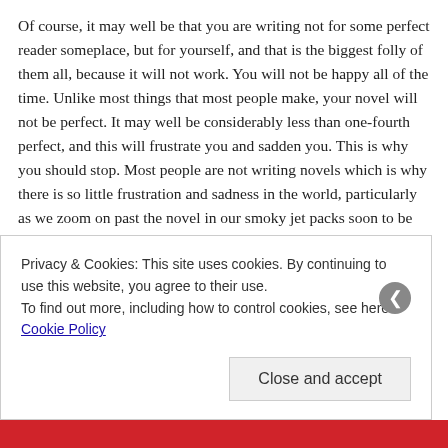Of course, it may well be that you are writing not for some perfect reader someplace, but for yourself, and that is the biggest folly of them all, because it will not work. You will not be happy all of the time. Unlike most things that most people make, your novel will not be perfect. It may well be considerably less than one-fourth perfect, and this will frustrate you and sadden you. This is why you should stop. Most people are not writing novels which is why there is so little frustration and sadness in the world, particularly as we zoom on past the novel in our smoky jet packs soon to be equipped with pureed food. The next time you find yourself in a group of people, stop and think to yourself, probably no one here is writing a novel. This is why everyone is so content, here at this bus stop or in line at the supermarket or standing around this baggage carousel or sitting around in this doctor's waiting room or in
Privacy & Cookies: This site uses cookies. By continuing to use this website, you agree to their use.
To find out more, including how to control cookies, see here: Cookie Policy
Close and accept